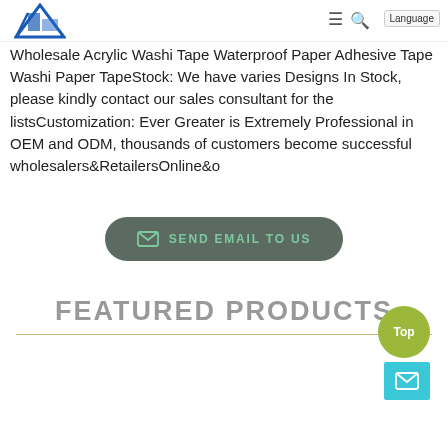Wholesale Acrylic Washi Tape Waterproof Paper Adhesive Tape Washi Paper TapeStock: We have varies Designs In Stock, please kindly contact our sales consultant for the listsCustomization: Ever Greater is Extremely Professional in OEM and ODM, thousands of customers become successful wholesalers&RetailersOnline&o
Wholesale Acrylic Washi Tape Waterproof Paper Adhesive Tape Washi Paper TapeStock: We have varies Designs In Stock, please kindly contact our sales consultant for the listsCustomization: Ever Greater is Extremely Professional in OEM and ODM, thousands of customers become successful wholesalers&RetailersOnline&o
[Figure (other): SEND EMAIL TO US button with envelope icon, rounded rectangle, dark greenish background, green text]
FEATURED PRODUCTS
[Figure (other): Top scroll button (circular, olive/yellow-green) and mail icon button (teal/cyan square) in bottom right corner]